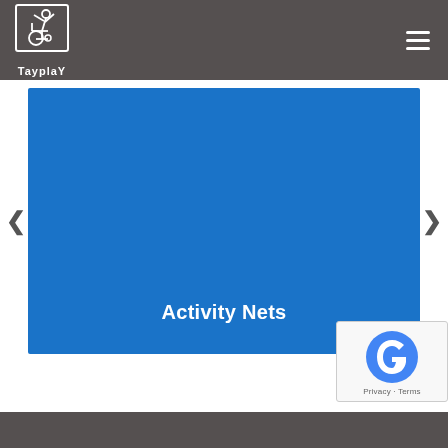[Figure (logo): TayplaY logo: white figure of person on wheelchair with arms raised, inside a white rectangle outline, with 'TayplaY' text below in white]
[Figure (illustration): Blue slideshow panel with white bold text 'Activity Nets' centered near the bottom, with left and right navigation arrows on either side]
[Figure (logo): Google reCAPTCHA badge with blue/grey 'g' swirl logo and 'Privacy · Terms' text below]